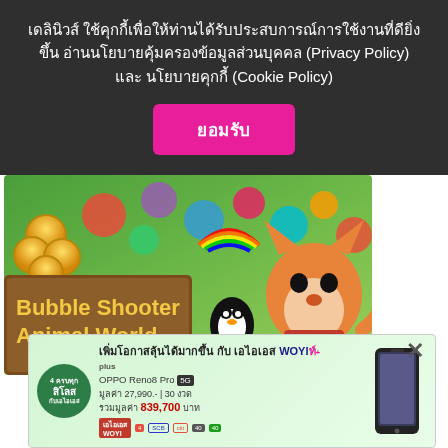เดลินิวส์ ใช้คุกกี้เพื่อให้ท่านได้รับประสบการณ์การใช้งานที่ดียิ่งขึ้น อ่านนโยบายคุ้มครองข้อมูลส่วนบุคคล (Privacy Policy) และ นโยบายคุกกี้ (Cookie Policy)
[Figure (screenshot): Cookie consent button labeled ยอมรับ (Accept) in pink/magenta color]
[Figure (screenshot): Bubble Shooter Animal World game banner with colorful animals, bubbles, penguin and fox/dog characters on a green background with golden coins]
[Figure (screenshot): Advertisement banner for AIS WOW+ featuring OPPO Reno8 Pro 5G, price 27,990 baht for 30 months, total value 839,700 baht, on light green background]